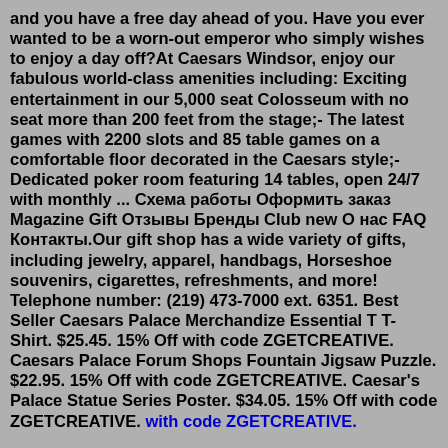and you have a free day ahead of you. Have you ever wanted to be a worn-out emperor who simply wishes to enjoy a day off?At Caesars Windsor, enjoy our fabulous world-class amenities including: Exciting entertainment in our 5,000 seat Colosseum with no seat more than 200 feet from the stage;- The latest games with 2200 slots and 85 table games on a comfortable floor decorated in the Caesars style;- Dedicated poker room featuring 14 tables, open 24/7 with monthly ... Схема работы Оформить заказ Magazine Gift Отзывы Бренды Club new О нас FAQ Контакты.Our gift shop has a wide variety of gifts, including jewelry, apparel, handbags, Horseshoe souvenirs, cigarettes, refreshments, and more! Telephone number: (219) 473-7000 ext. 6351. Best Seller Caesars Palace Merchandize Essential T T-Shirt. $25.45. 15% Off with code ZGETCREATIVE. Caesars Palace Forum Shops Fountain Jigsaw Puzzle. $22.95. 15% Off with code ZGETCREATIVE. Caesar's Palace Statue Series Poster. $34.05. 15% Off with code ZGETCREATIVE. [blue link text]